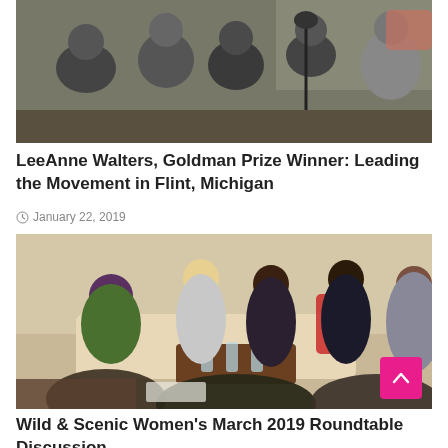[Figure (photo): Group of people seated indoors during a panel discussion, visible microphone stands and windows in background]
LeeAnne Walters, Goldman Prize Winner: Leading the Movement in Flint, Michigan
January 22, 2019
[Figure (photo): Women seated in a living room setting having a roundtable discussion, with beverages on a coffee table and audience visible in foreground]
Wild & Scenic Women's March 2019 Roundtable Discussion with Earth Activists